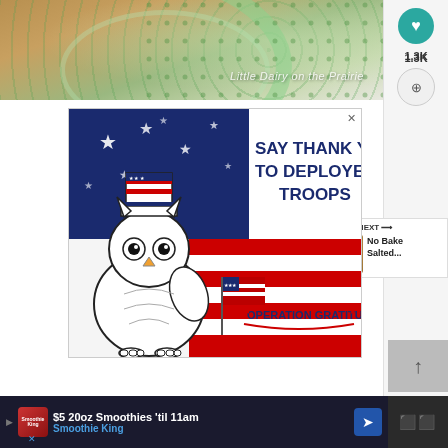[Figure (photo): Close-up photo of a decorative plate with green dot pattern on a woven mat background, with watermark text 'Little Dairy on the Prairie']
Little Dairy on the Prairie
[Figure (illustration): Operation Gratitude advertisement: cartoon owl wearing Uncle Sam hat holding American flag, with text 'SAY THANK YOU TO DEPLOYED TROOPS' and Operation Gratitude logo]
[Figure (photo): WHAT'S NEXT panel showing thumbnail of No Bake Salted... recipe]
1.3K
[Figure (screenshot): Bottom advertisement: $5 20oz Smoothies 'til 11am - Smoothie King]
$5 20oz Smoothies 'til 11am
Smoothie King